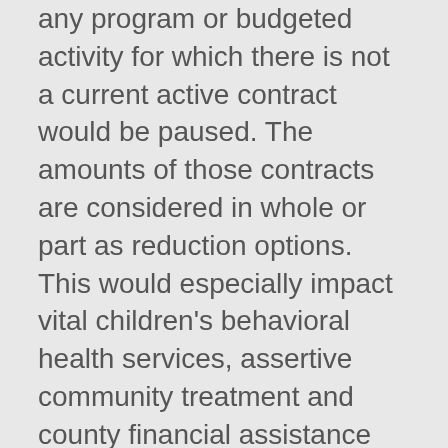any program or budgeted activity for which there is not a current active contract would be paused. The amounts of those contracts are considered in whole or part as reduction options. This would especially impact vital children's behavioral health services, assertive community treatment and county financial assistance agreements.
OHA identified further options in programs funded wholly by General Fund, primarily in reductions to rental assistance and CHOICE contracts. This would mean more people would be unable to maintain safe housing, and Oregon State Hospital would have more difficulty discharging people due to reduced resources to prepare for transition and